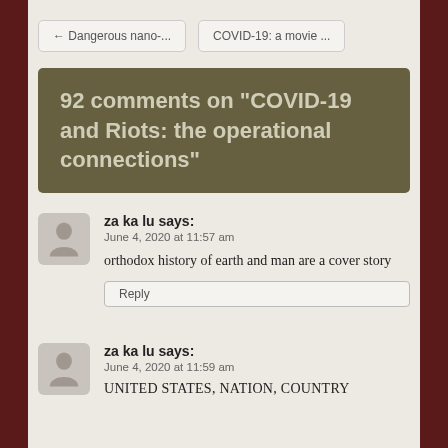← Dangerous nano-...
COVID-19: a movie ...
92 comments on “COVID-19 and Riots: the operational connections”
za ka lu says:
June 4, 2020 at 11:57 am
orthodox history of earth and man are a cover story
Reply
za ka lu says:
June 4, 2020 at 11:59 am
UNITED STATES, NATION, COUNTRY